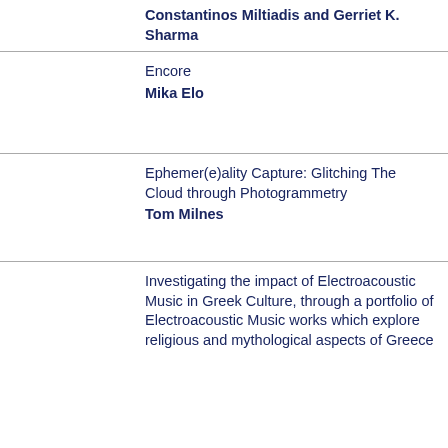Constantinos Miltiadis and Gerriet K. Sharma
Encore
Mika Elo
Ephemer(e)ality Capture: Glitching The Cloud through Photogrammetry
Tom Milnes
Investigating the impact of Electroacoustic Music in Greek Culture, through a portfolio of Electroacoustic Music works which explore religious and mythological aspects of Greece